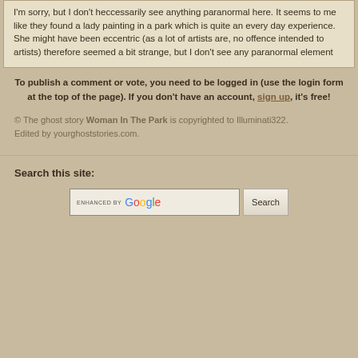I'm sorry, but I don't heccessarily see anything paranormal here. It seems to me like they found a lady painting in a park which is quite an every day experience. She might have been eccentric (as a lot of artists are, no offence intended to artists) therefore seemed a bit strange, but I don't see any paranormal element
To publish a comment or vote, you need to be logged in (use the login form at the top of the page). If you don't have an account, sign up, it's free!
© The ghost story Woman In The Park is copyrighted to Illuminati322. Edited by yourghoststories.com.
Search this site:
[Figure (other): Search input box with ENHANCED BY Google branding and a Search button]